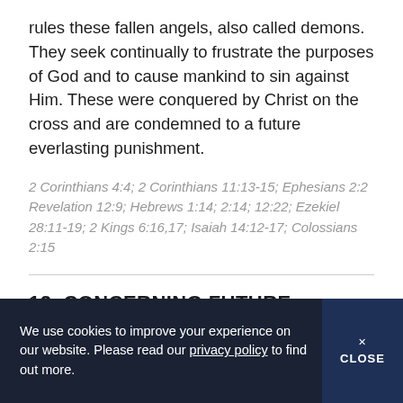rules these fallen angels, also called demons. They seek continually to frustrate the purposes of God and to cause mankind to sin against Him. These were conquered by Christ on the cross and are condemned to a future everlasting punishment.
2 Corinthians 4:4; 2 Corinthians 11:13-15; Ephesians 2:2 Revelation 12:9; Hebrews 1:14; 2:14; 12:22; Ezekiel 28:11-19; 2 Kings 6:16,17; Isaiah 14:12-17; Colossians 2:15
12. CONCERNING FUTURE EVENTS
We believe in the coming of Christ in the air to take His saints to be with Him. This imminent
We use cookies to improve your experience on our website. Please read our privacy policy to find out more.